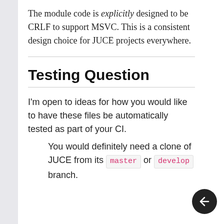The module code is explicitly designed to be CRLF to support MSVC. This is a consistent design choice for JUCE projects everywhere.
Testing Question
I'm open to ideas for how you would like to have these files be automatically tested as part of your CI.
You would definitely need a clone of JUCE from its master or develop branch.